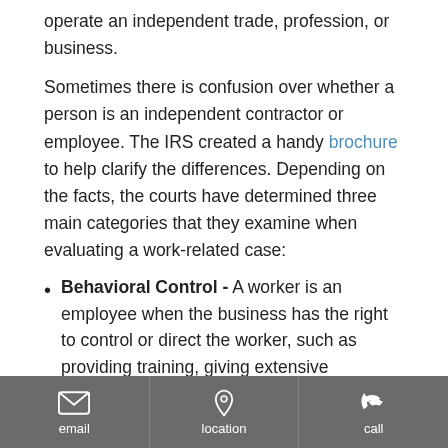operate an independent trade, profession, or business.
Sometimes there is confusion over whether a person is an independent contractor or employee. The IRS created a handy brochure to help clarify the differences. Depending on the facts, the courts have determined three main categories that they examine when evaluating a work-related case:
Behavioral Control - A worker is an employee when the business has the right to control or direct the worker, such as providing training, giving extensive instructions on how/when/where to do the work, dictating what equipment to use, advising who can help with the work, and directing where to purchase services or supplies.
Financial Control - If you have invested a significant
email | location | call